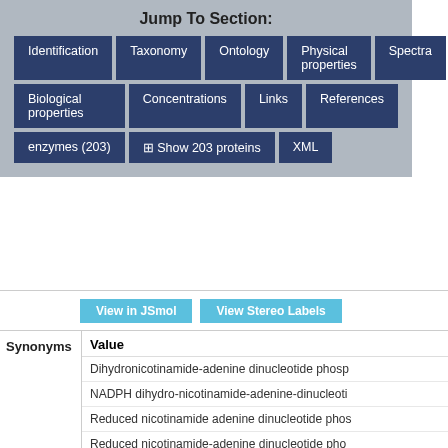Jump To Section:
Identification | Taxonomy | Ontology | Physical properties | Spectra
Biological properties | Concentrations | Links | References
enzymes (203) | Show 203 proteins | XML
View in JSmol   View Stereo Labels
| Property | Value |
| --- | --- |
| Synonyms | Value
Dihydronicotinamide-adenine dinucleotide phosp...
NADPH dihydro-nicotinamide-adenine-dinucleoti...
Reduced nicotinamide adenine dinucleotide phos...
Reduced nicotinamide-adenine dinucleotide pho...
TPNH
Dihydronicotinamide-adenine dinucleotide phos...
Show |
| Chemical Formula | C21H30N7O17P3 |
| Average | 745.4209 |